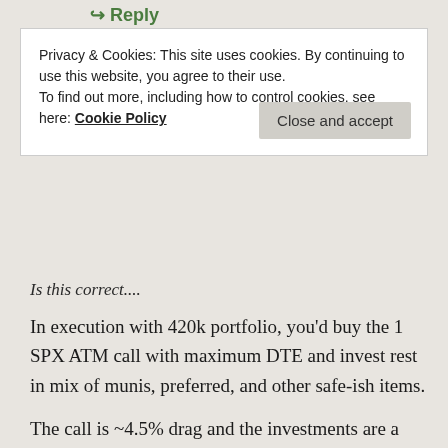↪ Reply
Privacy & Cookies: This site uses cookies. By continuing to use this website, you agree to their use. To find out more, including how to control cookies, see here: Cookie Policy
Is this correct....
In execution with 420k portfolio, you'd buy the 1 SPX ATM call with maximum DTE and invest rest in mix of munis, preferred, and other safe-ish items.
The call is ~4.5% drag and the investments are a ~4.5% gain, so limit the downside and participate in the upside.
Certainly will be even better when VIX is down near 12 again. Different strategies